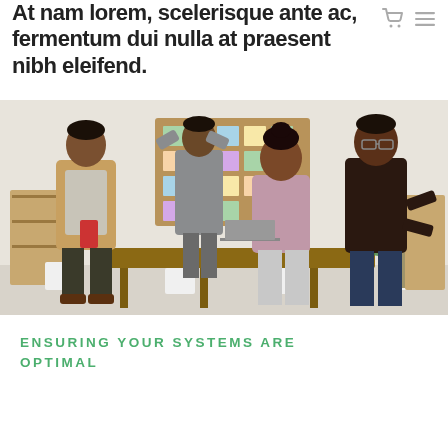At nam lorem, scelerisque ante ac, fermentum dui nulla at praesent nibh eleifend.
[Figure (photo): Office meeting scene with four people: a man in a tan blazer looking at his phone, a person in gray placing sticky notes on a cork board, a woman in a mauve top leaning against a table, and a man in a dark turtleneck gesturing while speaking. A wooden conference table, chairs, and a green plant are visible.]
ENSURING YOUR SYSTEMS ARE OPTIMAL